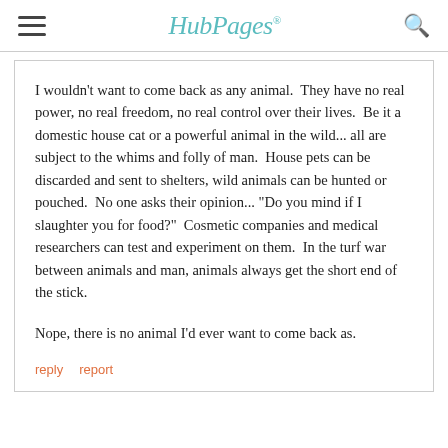HubPages
I wouldn't want to come back as any animal.  They have no real power, no real freedom, no real control over their lives.  Be it a domestic house cat or a powerful animal in the wild... all are subject to the whims and folly of man.  House pets can be discarded and sent to shelters, wild animals can be hunted or pouched.  No one asks their opinion... "Do you mind if I slaughter you for food?"  Cosmetic companies and medical researchers can test and experiment on them.  In the turf war between animals and man, animals always get the short end of the stick.
Nope, there is no animal I'd ever want to come back as.
reply   report